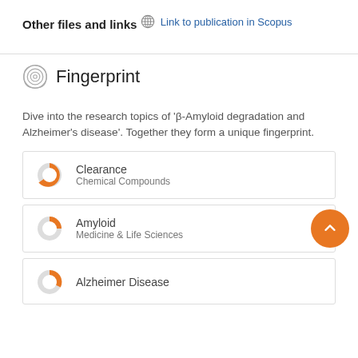Other files and links
Link to publication in Scopus
Fingerprint
Dive into the research topics of 'β-Amyloid degradation and Alzheimer's disease'. Together they form a unique fingerprint.
Clearance
Chemical Compounds
Amyloid
Medicine & Life Sciences
Alzheimer Disease